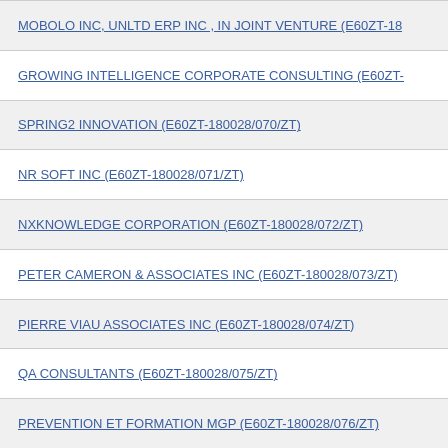MOBOLO INC, UNLTD ERP INC , IN JOINT VENTURE (E60ZT-18…
GROWING INTELLIGENCE CORPORATE CONSULTING (E60ZT-…
SPRING2 INNOVATION (E60ZT-180028/070/ZT)
NR SOFT INC (E60ZT-180028/071/ZT)
NXKNOWLEDGE CORPORATION (E60ZT-180028/072/ZT)
PETER CAMERON & ASSOCIATES INC (E60ZT-180028/073/ZT)
PIERRE VIAU ASSOCIATES INC (E60ZT-180028/074/ZT)
QA CONSULTANTS (E60ZT-180028/075/ZT)
PREVENTION ET FORMATION MGP (E60ZT-180028/076/ZT)